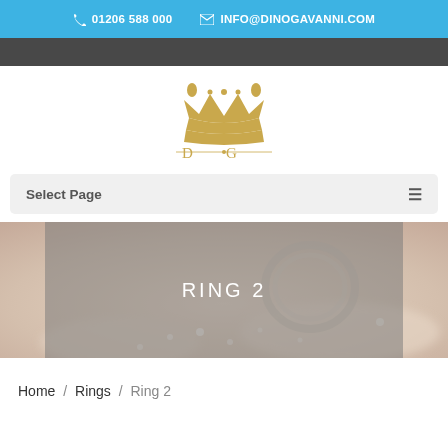📞 01206 588 000   ✉ INFO@DINOGAVANNI.COM
[Figure (logo): Dino Gavanni crown logo with stylized D G lettering in gold]
Select Page
[Figure (photo): Blurred close-up photo of diamond rings on a light beige background with RING 2 overlay text]
Home / Rings / Ring 2